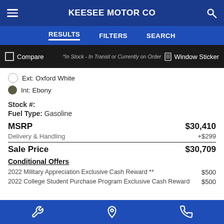KEESEE MOTOR CO
RESULTS   FILTERS   SEARCH
[Figure (screenshot): Partial car image strip with Compare and Window Sticker buttons, and italic text '*In Stock - In Transit or Currently on Order']
Ext: Oxford White
Int: Ebony
Stock #:
Fuel Type: Gasoline
|  |  |
| --- | --- |
| MSRP | $30,410 |
| Delivery & Handling | +$299 |
| Sale Price | $30,709 |
| Conditional Offers |  |
| 2022 Military Appreciation Exclusive Cash Reward ** | $500 |
| 2022 College Student Purchase Program Exclusive Cash Reward | $500 |
Wrench icon | Location icon | Phone icon